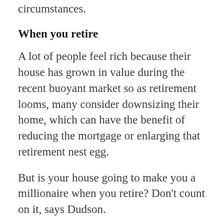option is right for you and your personal circumstances.
When you retire
A lot of people feel rich because their house has grown in value during the recent buoyant market so as retirement looms, many consider downsizing their home, which can have the benefit of reducing the mortgage or enlarging that retirement nest egg.
But is your house going to make you a millionaire when you retire? Don't count on it, says Dudson.
“That’s right now, but what about the future?” she says. “It wouldn’t surprise me if we have a very flat market coming. People have very short